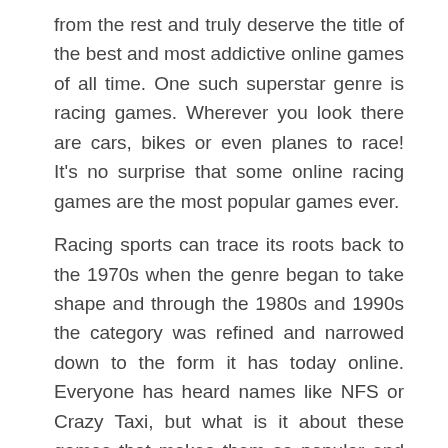from the rest and truly deserve the title of the best and most addictive online games of all time. One such superstar genre is racing games. Wherever you look there are cars, bikes or even planes to race! It's no surprise that some online racing games are the most popular games ever.
Racing sports can trace its roots back to the 1970s when the genre began to take shape and through the 1980s and 1990s the category was refined and narrowed down to the form it has today online. Everyone has heard names like NFS or Crazy Taxi, but what is it about these games that makes them so popular and addictive? One reason could be that they put you in a place you simply can't go in your everyday life: in the driver's seat of a car going